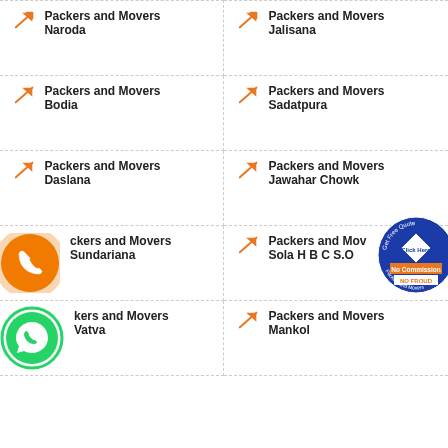Packers and Movers Naroda
Packers and Movers Jalisana
Packers and Movers Bodia
Packers and Movers Sadatpura
Packers and Movers Daslana
Packers and Movers Jawahar Chowk
Packers and Movers Sundariana
Packers and Movers Sola H B C S.O
Packers and Movers Vatva
Packers and Movers Mankol